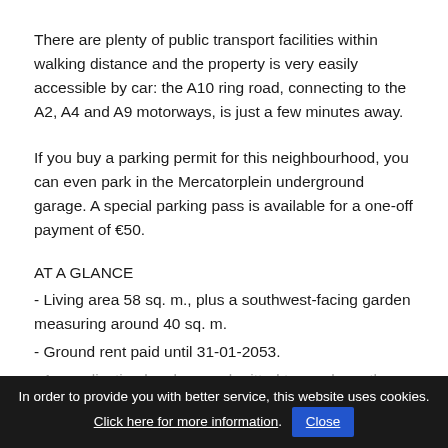There are plenty of public transport facilities within walking distance and the property is very easily accessible by car: the A10 ring road, connecting to the A2, A4 and A9 motorways, is just a few minutes away.
If you buy a parking permit for this neighbourhood, you can even park in the Mercatorplein underground garage. A special parking pass is available for a one-off payment of €50.
AT A GLANCE
- Living area 58 sq. m., plus a southwest-facing garden measuring around 40 sq. m.
- Ground rent paid until 31-01-2053.
- An application has been submitted to purchase the
In order to provide you with better service, this website uses cookies. Click here for more information. Close